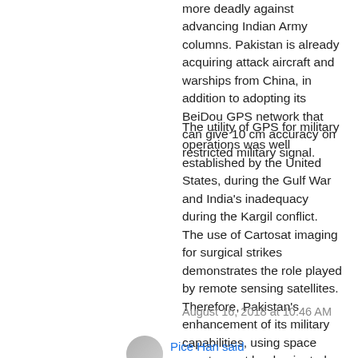more deadly against advancing Indian Army columns. Pakistan is already acquiring attack aircraft and warships from China, in addition to adopting its BeiDou GPS network that can give 10 cm accuracy on restricted military signal.
The utility of GPS for military operations was well established by the United States, during the Gulf War and India's inadequacy during the Kargil conflict. The use of Cartosat imaging for surgical strikes demonstrates the role played by remote sensing satellites. Therefore, Pakistan's enhancement of its military capabilities, using space assets must be dominated by India improving its network-centric capabilities, including satellites. The inclusion of private industry in satellite manufacturing and launch vehicle operations should help remove the bottlenecks and improve India's space advantages qualitatively and quantitatively.
August 16, 2018 at 10:46 AM
Pice Han said